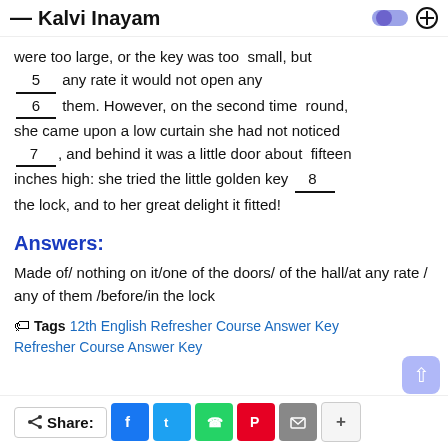— Kalvi Inayam
were too large, or the key was too small, but _____5_______ any rate it would not open any _____6_______ them. However, on the second time round, she came upon a low curtain she had not noticed ____7________, and behind it was a little door about fifteen inches high: she tried the little golden key ______8_______ the lock, and to her great delight it fitted!
Answers:
Made of/ nothing on it/one of the doors/ of the hall/at any rate / any of them /before/in the lock
Tags  12th English Refresher Course Answer Key  Refresher Course Answer Key
Share: